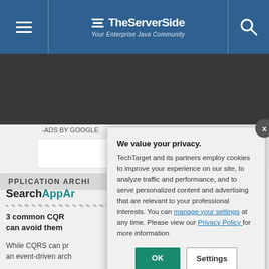[Figure (screenshot): TheServerSide website header with hamburger menu, logo, and search icon on blue background]
[Figure (screenshot): Dark banner ad area]
-ADS BY GOOGLE
PPLICATION ARCH
SearchAppAr
3 common CQR can avoid them
While CQRS can pr an event-driven arch
[Figure (screenshot): Privacy consent modal dialog: 'We value your privacy. TechTarget and its partners employ cookies to improve your experience on our site, to analyze traffic and performance, and to serve personalized content and advertising that are relevant to your professional interests. You can manage your settings at any time. Please view our Privacy Policy for more information' with OK and Settings buttons]